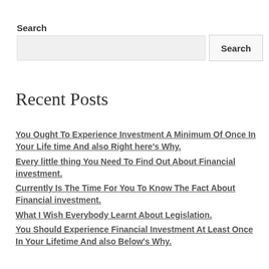Search
Search input and button
Recent Posts
You Ought To Experience Investment A Minimum Of Once In Your Life time And also Right here’s Why.
Every little thing You Need To Find Out About Financial investment.
Currently Is The Time For You To Know The Fact About Financial investment.
What I Wish Everybody Learnt About Legislation.
You Should Experience Financial Investment At Least Once In Your Lifetime And also Below’s Why.